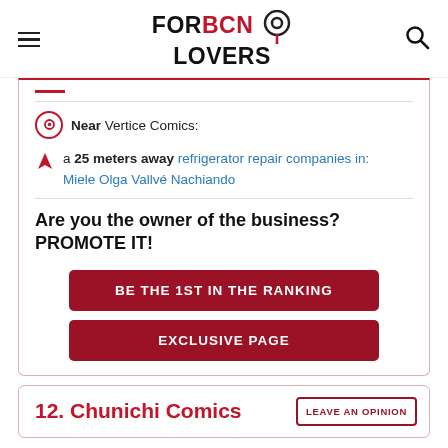FORBCN LOVERS
Near Vertice Comics:
a 25 meters away refrigerator repair companies in: Miele Olga Vallvé Nachiando
Are you the owner of the business? PROMOTE IT!
BE THE 1ST IN THE RANKING
EXCLUSIVE PAGE
12. Chunichi Comics
LEAVE AN OPINION